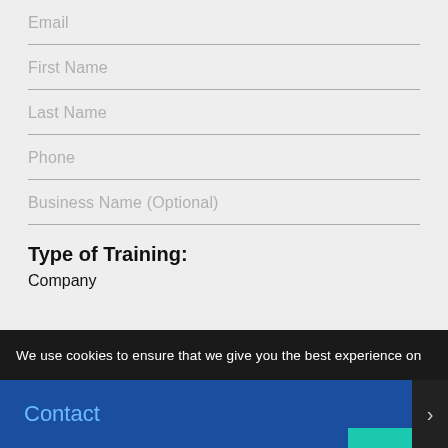Email
First Name
Last Name
Phone
Business Name (Optional)
Type of Training:
Company
We use cookies to ensure that we give you the best experience on
Contact